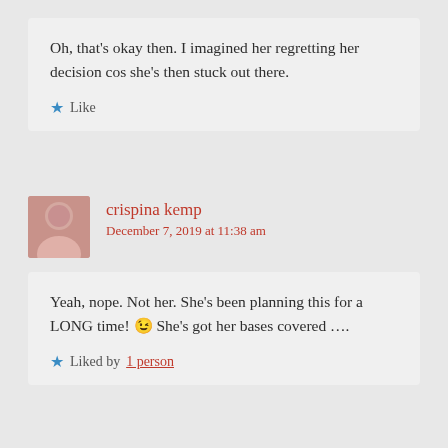Oh, that's okay then. I imagined her regretting her decision cos she's then stuck out there.
★ Like
crispina kemp
December 7, 2019 at 11:38 am
Yeah, nope. Not her. She's been planning this for a LONG time! 😉 She's got her bases covered ….
★ Liked by 1 person